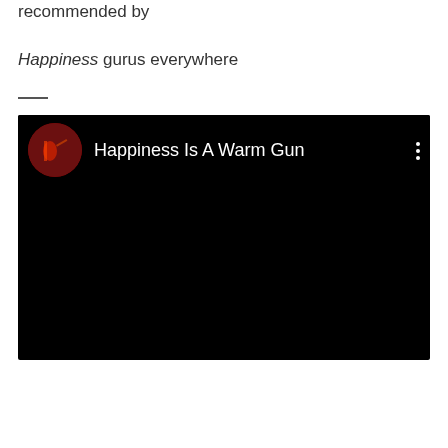recommended by

Happiness gurus everywhere
[Figure (screenshot): YouTube video player showing 'Happiness Is A Warm Gun' with a circular thumbnail of a guitarist on a dark stage, three-dot menu icon, and mostly black video content area.]